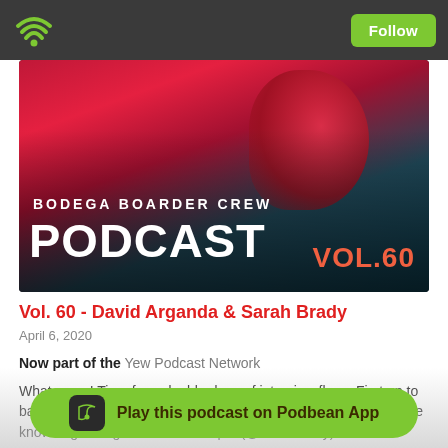Podbean app header with wifi/podcast icon and Follow button
[Figure (illustration): Podcast cover art for Bodega Boarder Crew Podcast Vol. 60, showing a surfer/boarder silhouette against a red and teal background with bold white text 'BODEGA BOARDER CREW PODCAST' and pink/orange 'VOL.60']
Vol. 60 - David Arganda & Sarah Brady
April 6, 2020
Now part of the Yew Podcast Network
What up yo! Time for a double dose of interview flava. First up to bat we got our homie David Arganda (@veedster) dropping some knowledge... diego scene. Next up... (@sarahbrady)